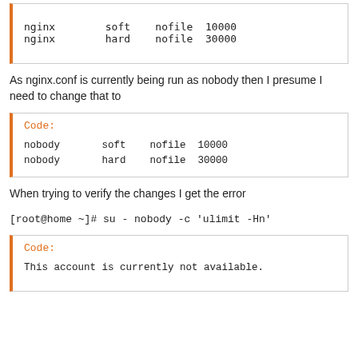nginx    soft    nofile    10000
nginx    hard    nofile    30000
As nginx.conf is currently being run as nobody then I presume I need to change that to
Code:
nobody    soft    nofile    10000
nobody    hard    nofile    30000
When trying to verify the changes I get the error
[root@home ~]# su - nobody -c 'ulimit -Hn'
Code:
This account is currently not available.